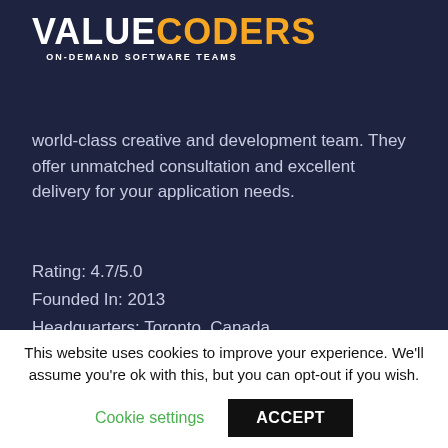[Figure (logo): ValueCoders logo — white 'VALUE' text and orange 'CODERS' text, with tagline 'ON-DEMAND SOFTWARE TEAMS' below]
world-class creative and development team. They offer unmatched consultation and excellent delivery for your application needs.
Rating: 4.7/5.0
Founded In: 2013
Headquarters: Toronto, Canada
Hourly Price: $50—$99 / hr
Celebrated Clients: General Motors, Motorola, Rogers Communications, Fido, The Paul Getty Foundation, Oklahoma City, Johnson & Johnson, Ontario Government, Government of Canada, Davis & Henderson and Maytag.
[Figure (screenshot): Partial screenshot showing '247 Labs Inc' entry with some columns visible]
This website uses cookies to improve your experience. We'll assume you're ok with this, but you can opt-out if you wish.
Cookie settings    ACCEPT